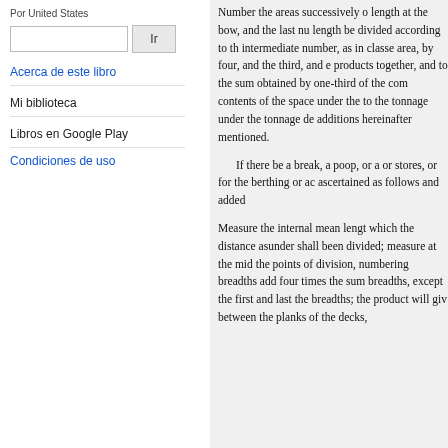Por United States
Ir
Acerca de este libro
Mi biblioteca
Libros en Google Play
Condiciones de uso
Number the areas successively o... length at the bow, and the last nu... length be divided according to th... intermediate number, as in class... area, by four, and the third, and e... products together, and to the sum... obtained by one-third of the com... contents of the space under the to... the tonnage under the tonnage de... additions hereinafter mentioned.

If there be a break, a poop, or a... or stores, or for the berthing or ac... ascertained as follows and added...

Measure the internal mean lengt... which the distance asunder shall... been divided; measure at the mid... the points of division, numbering... breadths add four times the sum... breadths, except the first and last... the breadths; the product will giv... between the planks of the decks,